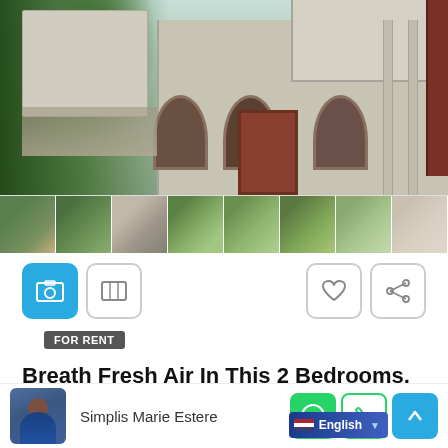[Figure (photo): Main property photo showing a two-story concrete building with arched barred windows and a brown door, surrounded by trees and greenery in Haiti]
[Figure (photo): Thumbnail strip of 8 smaller property photos showing various views of the apartment building and surrounding green landscape]
[Figure (other): UI control buttons row: active photo view button (blue), map view button, heart/favorite button, share button]
FOR RENT
Breath Fresh Air In This 2 Bedrooms, 2 Baths, Green Apartment For Rent In Musseau, Petion-Ville. Haiti – Nice Views. Surrounded By Trees
Simplis Marie Estere